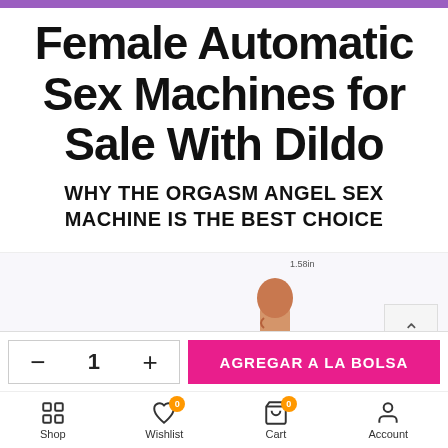Female Automatic Sex Machines for Sale With Dildo
WHY THE ORGASM ANGEL SEX MACHINE IS THE BEST CHOICE
[Figure (photo): Two dildo attachments shown side by side: a realistic skin-toned dildo (1.58in wide, 7.87in length) on the left and a purple ribbed double-headed attachment (0.71+0.98cm wide, 9.45in length) on the right]
— 1 +
AGREGAR A LA BOLSA
Shop   Wishlist 0   Cart 0   Account